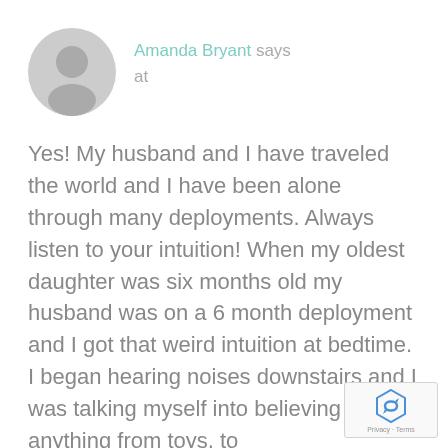Amanda Bryant says
at
Yes! My husband and I have traveled the world and I have been alone through many deployments. Always listen to your intuition! When my oldest daughter was six months old my husband was on a 6 month deployment and I got that weird intuition at bedtime. I began hearing noises downstairs and I was talking myself into believing it was anything from toys, to